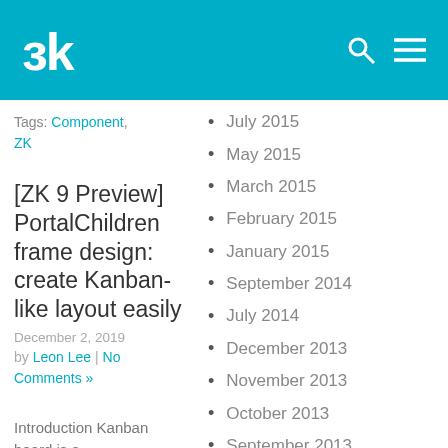ZK (logo) | search | menu
Tags: Component, ZK
[ZK 9 Preview] PortalChildren frame design: create Kanban-like layout easily
December 2, 2019
by Leon Lee | No Comments »
July 2015
May 2015
March 2015
February 2015
January 2015
September 2014
July 2014
December 2013
November 2013
October 2013
September 2013
August 2013
Introduction Kanban board is a